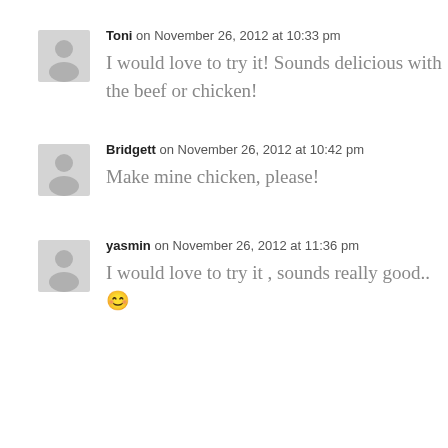[Figure (photo): Gray placeholder avatar icon for user Toni]
Toni on November 26, 2012 at 10:33 pm
I would love to try it! Sounds delicious with the beef or chicken!
[Figure (photo): Gray placeholder avatar icon for user Bridgett]
Bridgett on November 26, 2012 at 10:42 pm
Make mine chicken, please!
[Figure (photo): Gray placeholder avatar icon for user yasmin]
yasmin on November 26, 2012 at 11:36 pm
I would love to try it , sounds really good.. 🙂